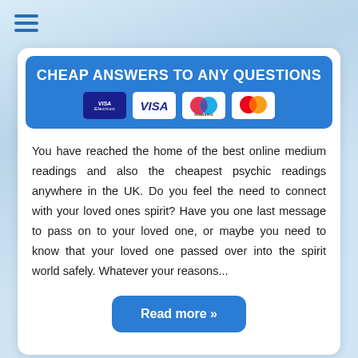[Figure (logo): Hamburger menu icon (three horizontal blue lines)]
CHEAP ANSWERS TO ANY QUESTIONS
[Figure (logo): Payment icons: Visa Electron, Visa, Maestro, Mastercard]
You have reached the home of the best online medium readings and also the cheapest psychic readings anywhere in the UK. Do you feel the need to connect with your loved ones spirit? Have you one last message to pass on to your loved one, or maybe you need to know that your loved one passed over into the spirit world safely. Whatever your reasons...
Read more »